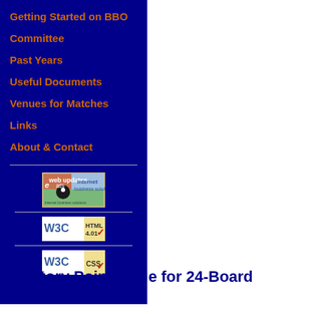Getting Started on BBO
Committee
Past Years
Useful Documents
Venues for Matches
Links
About & Contact
[Figure (logo): eCats internet business solutions logo]
[Figure (logo): W3C HTML 4.01 validation badge]
[Figure (logo): W3C CSS validation badge]
Victory Point Scale for 24-Board Matches